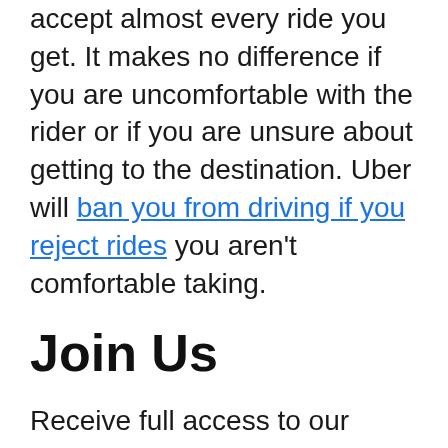accept almost every ride you get. It makes no difference if you are uncomfortable with the rider or if you are unsure about getting to the destination. Uber will ban you from driving if you reject rides you aren't comfortable taking.
Join Us
Receive full access to our market insights, commentary, newsletters, breaking news alerts, and more.I agree to TheMaven's Terms and PolicyAlready have an account? Login here
What Taxes Do Uber Drivers Need to Pay?